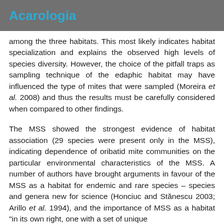Acarologia
among the three habitats. This most likely indicates habitat specialization and explains the observed high levels of species diversity. However, the choice of the pitfall traps as sampling technique of the edaphic habitat may have influenced the type of mites that were sampled (Moreira et al. 2008) and thus the results must be carefully considered when compared to other findings.
The MSS showed the strongest evidence of habitat association (29 species were present only in the MSS), indicating dependence of oribatid mite communities on the particular environmental characteristics of the MSS. A number of authors have brought arguments in favour of the MSS as a habitat for endemic and rare species – species and genera new for science (Honciuc and Stănescu 2003; Arillo et al. 1994), and the importance of MSS as a habitat "in its own right, one with a set of unique